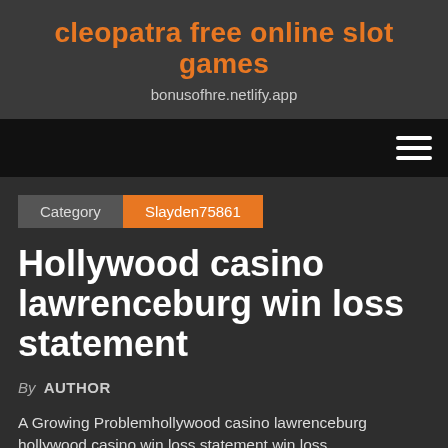cleopatra free online slot games
bonusofhre.netlify.app
Category  Slayden75861
Hollywood casino lawrenceburg win loss statement
By AUTHOR
A Growing Problemhollywood casino lawrenceburg hollywood casino win loss statement win loss